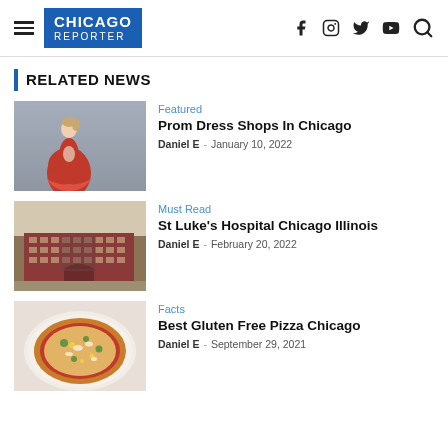Chicago Reporter — navigation header with logo and social icons
RELATED NEWS
Featured — Prom Dress Shops In Chicago — Daniel E — January 10, 2022
Must Read — St Luke's Hospital Chicago Illinois — Daniel E — February 20, 2022
Facts — Best Gluten Free Pizza Chicago — Daniel E — September 29, 2021